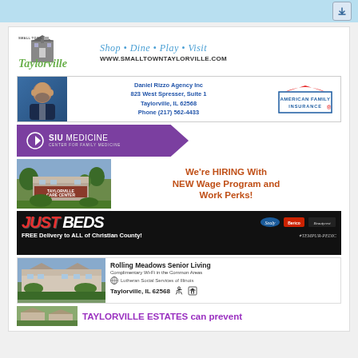[Figure (other): Light blue top browser chrome bar with download icon button]
[Figure (logo): Small Town Taylorville logo with church/castle illustration]
Shop • Dine • Play • Visit
WWW.SMALLTOWNTAYLORVILLE.COM
[Figure (photo): Headshot of Daniel Rizzo, bald man with beard in suit]
Daniel Rizzo Agency Inc
823 West Spresser, Suite 1
Taylorville, IL 62568
Phone (217) 562-4433
[Figure (logo): American Family Insurance logo]
[Figure (logo): SIU Medicine Center for Family Medicine logo on purple arrow background]
[Figure (photo): Taylorville Care Center building exterior with landscaping]
We're HIRING With NEW Wage Program and Work Perks!
[Figure (other): Just Beds advertisement with Sealy, Berico, Beautyrest, Tempur-Pedic logos - FREE Delivery to ALL of Christian County!]
[Figure (photo): Rolling Meadows Senior Living building exterior]
Rolling Meadows Senior Living
Complimentary Wi-Fi in the Common Areas
Lutheran Social Services of Illinois
Taylorville, IL 62568
TAYLORVILLE ESTATES can prevent